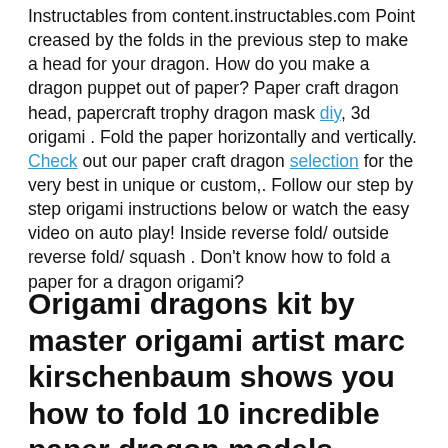Instructables from content.instructables.com Point creased by the folds in the previous step to make a head for your dragon. How do you make a dragon puppet out of paper? Paper craft dragon head, papercraft trophy dragon mask diy, 3d origami . Fold the paper horizontally and vertically. Check out our paper craft dragon selection for the very best in unique or custom,. Follow our step by step origami instructions below or watch the easy video on auto play! Inside reverse fold/ outside reverse fold/ squash . Don't know how to fold a paper for a dragon origami?
Origami dragons kit by master origami artist marc kirschenbaum shows you how to fold 10 incredible paper dragon models.